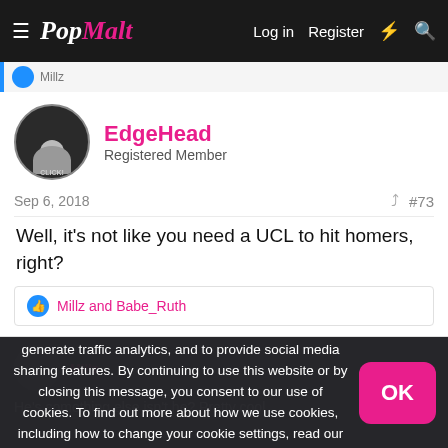PopMalt — Log in  Register
EdgeHead
Registered Member
Sep 6, 2018  #73
Well, it's not like you need a UCL to hit homers, right?
Millz and Babe_Ruth
We use cookies to personalize content on our website, generate traffic analytics, and to provide social media sharing features. By continuing to use this website or by closing this message, you consent to our use of cookies. To find out more about how we use cookies, including how to change your cookie settings, read our privacy policy.
He's something else isn't he? Pretty cool.